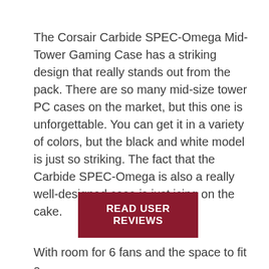The Corsair Carbide SPEC-Omega Mid-Tower Gaming Case has a striking design that really stands out from the pack. There are so many mid-size tower PC cases on the market, but this one is unforgettable. You can get it in a variety of colors, but the black and white model is just so striking. The fact that the Carbide SPEC-Omega is also a really well-designed case is just icing on the cake.
READ USER REVIEWS
With room for 6 fans and the space to fit a